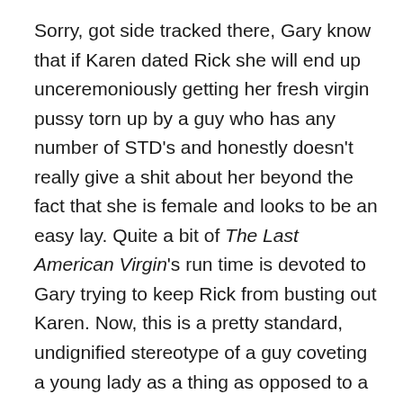Sorry, got side tracked there, Gary know that if Karen dated Rick she will end up unceremoniously getting her fresh virgin pussy torn up by a guy who has any number of STD's and honestly doesn't really give a shit about her beyond the fact that she is female and looks to be an easy lay. Quite a bit of The Last American Virgin's run time is devoted to Gary trying to keep Rick from busting out Karen. Now, this is a pretty standard, undignified stereotype of a guy coveting a young lady as a thing as opposed to a fellow human being. Something of a trophy to be had. Gary is supposed to be a good guy, but he is so wrapped up in trying to get Karen to do exactly what HE wants as opposed to what SHE wants even though it is apparent to the viewer that she is making the decision to fuck a jerk, but that is HER decision to make, even if it's a pretty lame one. Hey, girls can fuck whoever they want to,